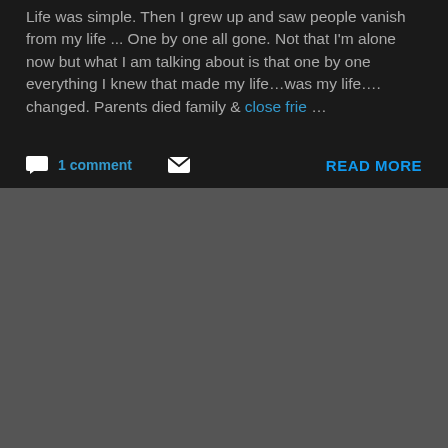Life was simple. Then I grew up and saw people vanish from my life ... One by one all gone. Not that I'm alone now but what I am talking about is that one by one everything I knew that made my life...was my life.... changed. Parents died family & close frie...
1 comment
READ MORE
[Figure (photo): Dark gray/brown background area, lower half of page, appears to be a blurred dark image background]